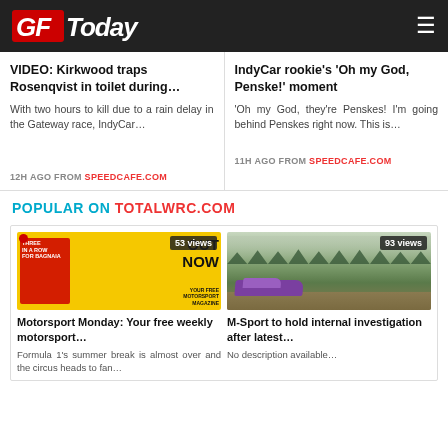GFToday
VIDEO: Kirkwood traps Rosenqvist in toilet during…
With two hours to kill due to a rain delay in the Gateway race, IndyCar…
12H AGO FROM SPEEDCAFE.COM
IndyCar rookie's 'Oh my God, Penske!' moment
'Oh my God, they're Penskes! I'm going behind Penskes right now. This is…
11H AGO FROM SPEEDCAFE.COM
POPULAR ON TOTALWRC.COM
[Figure (photo): Motorsport magazine cover — yellow background, OUT NOW text, 53 views badge]
Motorsport Monday: Your free weekly motorsport…
Formula 1's summer break is almost over and the circus heads to fan…
[Figure (photo): Rally car (purple) on a rural field road, 93 views badge]
M-Sport to hold internal investigation after latest…
No description available…